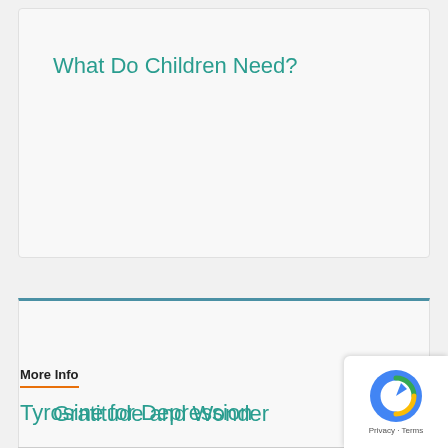What Do Children Need?
Gratitude and Wonder
More Info
Tyrosine for Depression